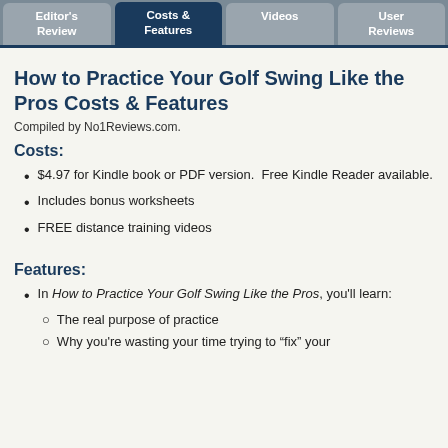Editor's Review | Costs & Features | Videos | User Reviews
How to Practice Your Golf Swing Like the Pros Costs & Features
Compiled by No1Reviews.com.
Costs:
$4.97 for Kindle book or PDF version. Free Kindle Reader available.
Includes bonus worksheets
FREE distance training videos
Features:
In How to Practice Your Golf Swing Like the Pros, you'll learn:
The real purpose of practice
Why you're wasting your time trying to "fix" your